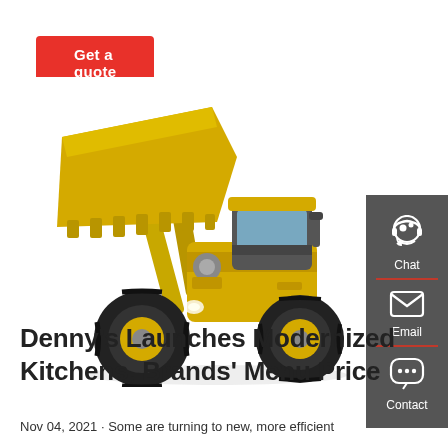Get a quote
[Figure (photo): Yellow front loader / wheel loader construction vehicle with raised bucket, photographed on white background]
[Figure (infographic): Dark gray sidebar with three contact options: Chat (headset icon), Email (envelope icon), Contact (speech bubble with dots icon), each separated by a red divider line]
Denny's Launches Modernized Kitchens, Brands' Menu Price
Nov 04, 2021 · Some are turning to new, more efficient